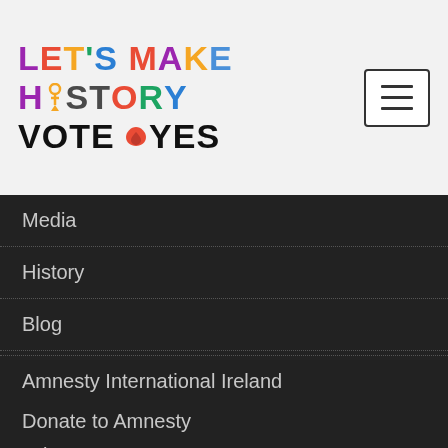[Figure (logo): Let's Make History Vote Yes logo with rainbow colored letters and Amnesty International candle icon in the H]
Menu navigation icon (hamburger)
Media
History
Blog
Donate
AMNESTY INTERNATIONAL
Amnesty International Ireland
Donate to Amnesty
Join Amnesty